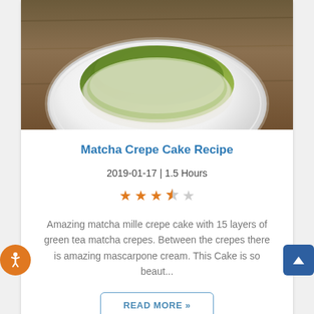[Figure (photo): Photo of a matcha crepe cake on a white plate, showing green matcha-dusted layers, placed on a wooden surface. Only top portion visible.]
Matcha Crepe Cake Recipe
2019-01-17 | 1.5 Hours
[Figure (other): Star rating: 3.5 out of 5 stars (4 orange stars, 1 gray star, last half-filled)]
Amazing matcha mille crepe cake with 15 layers of green tea matcha crepes. Between the crepes there is amazing mascarpone cream. This Cake is so beaut...
READ MORE »